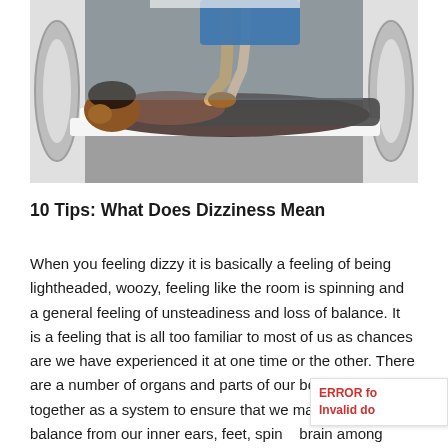[Figure (photo): A patient lying on a medical scanning table (CT scanner) while a healthcare professional in blue scrubs holds the patient's hands, preparing them for a scan.]
10 Tips: What Does Dizziness Mean
When you feeling dizzy it is basically a feeling of being lightheaded, woozy, feeling like the room is spinning and a general feeling of unsteadiness and loss of balance. It is a feeling that is all too familiar to most of us as chances are we have experienced it at one time or the other. There are a number of organs and parts of our bodies that work together as a system to ensure that we maintain our balance from our inner ears, feet, spine, brain among others. As such, it can be difficult to pinpoint exactly what may be behind your dizziness, what it may mean since balance is a matter that